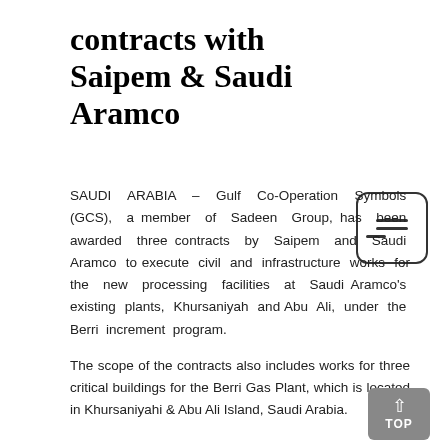contracts with Saipem & Saudi Aramco
SAUDI ARABIA – Gulf Co-Operation Symbols (GCS), a member of Sadeen Group, has been awarded three contracts by Saipem and Saudi Aramco to execute civil and infrastructure works for the new processing facilities at Saudi Aramco's existing plants, Khursaniyah and Abu Ali, under the Berri increment program.
The scope of the contracts also includes works for three critical buildings for the Berri Gas Plant, which is located in Khursaniyahi & Abu Ali Island, Saudi Arabia.